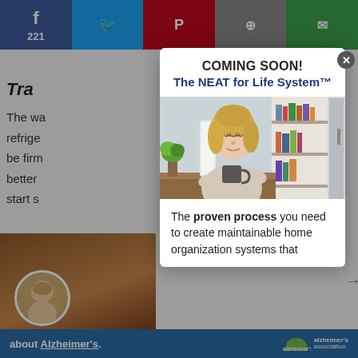[Figure (screenshot): Social share bar with Facebook (221), Twitter, Pinterest, email icons at top of background page]
The wa
refrige
be firm
better
start s
[Figure (photo): Modal popup: Woman with blonde hair sitting at a table, eyes closed, holding a mug, relaxed expression, home interior with bookshelf in background]
COMING SOON!
The NEAT for Life System™
The proven process you need to create maintainable home organization systems that
about Alzheimer's.